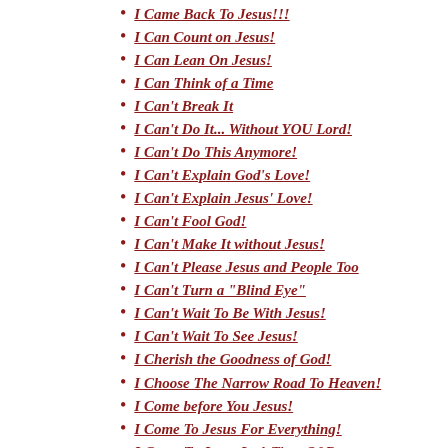I Came Back To Jesus!!!
I Can Count on Jesus!
I Can Lean On Jesus!
I Can Think of a Time
I Can't Break It
I Can't Do It... Without YOU Lord!
I Can't Do This Anymore!
I Can't Explain God's Love!
I Can't Explain Jesus' Love!
I Can't Fool God!
I Can't Make It without Jesus!
I Can't Please Jesus and People Too
I Can't Turn a "Blind Eye"
I Can't Wait To Be With Jesus!
I Can't Wait To See Jesus!
I Cherish the Goodness of God!
I Choose The Narrow Road To Heaven!
I Come before You Jesus!
I Come To Jesus For Everything!
I Come To Jesus In A Time Of Desper
I Come to Jesus!
I Dedicate My Time To Jesus!
I Did Something That You Won't Let
I Didn't Come to Church for Coffee.
I Didn't Deserve God's Love!
I Didn't Know How Good I Had It...
I Disappointed My Lord!
I Don't Deserve Christ' Love!
I Don't Have Much Time!
I Don't Know about Tomrrow...